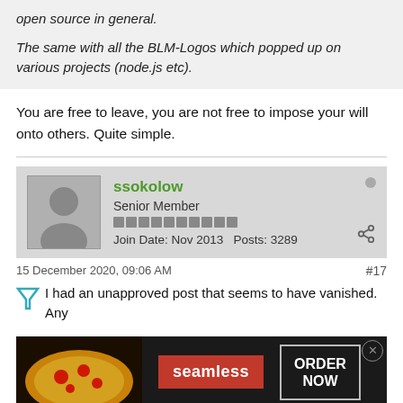open source in general.

The same with all the BLM-Logos which popped up on various projects (node.js etc).
You are free to leave, you are not free to impose your will onto others. Quite simple.
ssokolow
Senior Member
Join Date: Nov 2013   Posts: 3289
15 December 2020, 09:06 AM
#17
I had an unapproved post that seems to have vanished. Any
[Figure (other): Seamless food delivery advertisement banner with pizza image, red Seamless logo, and ORDER NOW button]